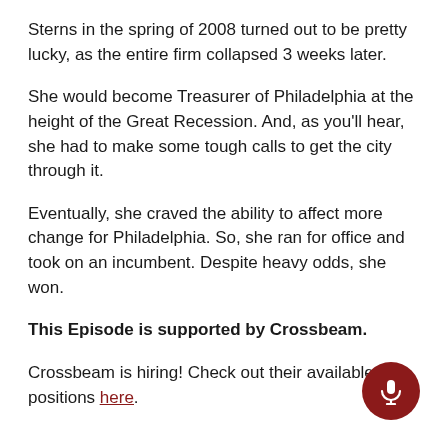Sterns in the spring of 2008 turned out to be pretty lucky, as the entire firm collapsed 3 weeks later.
She would become Treasurer of Philadelphia at the height of the Great Recession. And, as you'll hear, she had to make some tough calls to get the city through it.
Eventually, she craved the ability to affect more change for Philadelphia. So, she ran for office and took on an incumbent. Despite heavy odds, she won.
This Episode is supported by Crossbeam.
Crossbeam is hiring! Check out their available positions here.